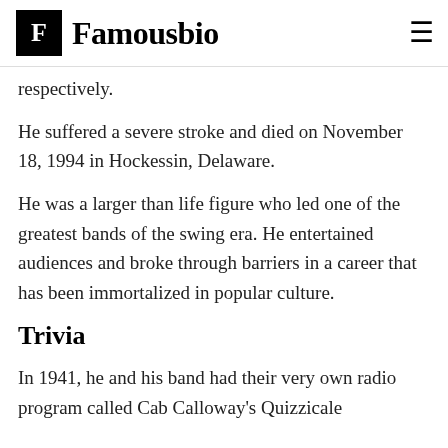F Famousbio
respectively.
He suffered a severe stroke and died on November 18, 1994 in Hockessin, Delaware.
He was a larger than life figure who led one of the greatest bands of the swing era. He entertained audiences and broke through barriers in a career that has been immortalized in popular culture.
Trivia
In 1941, he and his band had their very own radio program called Cab Calloway's Quizzicale